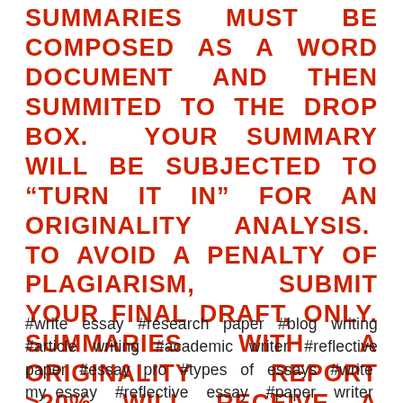SUMMARIES MUST BE COMPOSED AS A WORD DOCUMENT AND THEN SUMMITED TO THE DROP BOX. YOUR SUMMARY WILL BE SUBJECTED TO “TURN IT IN” FOR AN ORIGINALITY ANALYSIS. TO AVOID A PENALTY OF PLAGIARISM, SUBMIT YOUR FINAL DRAFT, ONLY. SUMMARIES WITH A ORIGINALITY REPORT >20% WILL RECEIVE A GRADE OF ZERO.
#write essay #research paper #blog writing #article writing #academic writer #reflective paper #essay pro #types of essays #write my essay #reflective essay #paper writer #essay writing service #essay writer free #essay helper